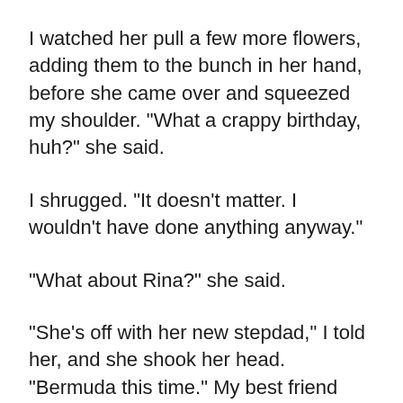I watched her pull a few more flowers, adding them to the bunch in her hand, before she came over and squeezed my shoulder. "What a crappy birthday, huh?" she said.
I shrugged. "It doesn't matter. I wouldn't have done anything anyway."
"What about Rina?" she said.
"She's off with her new stepdad," I told her, and she shook her head. "Bermuda this time." My best friend Rina Swain's mom had just gotten remarried again: This was number four. She only married rich, and never for love, which led to Rina living in nicer and nicer houses, going to endless exotic places, and piling up huge therapy bills.